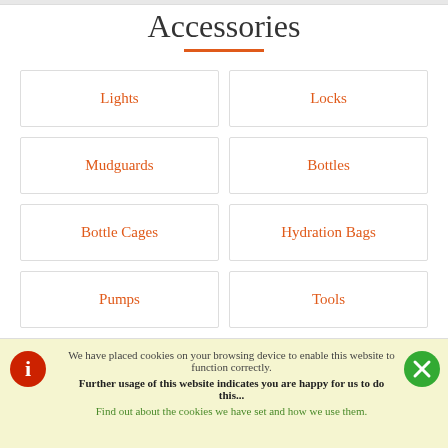Accessories
Lights
Locks
Mudguards
Bottles
Bottle Cages
Hydration Bags
Pumps
Tools
We have placed cookies on your browsing device to enable this website to function correctly.
Further usage of this website indicates you are happy for us to do this...
Find out about the cookies we have set and how we use them.